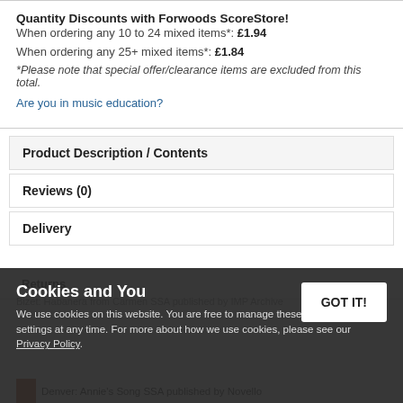Quantity Discounts with Forwoods ScoreStore!
When ordering any 10 to 24 mixed items*: £1.94
When ordering any 25+ mixed items*: £1.84
*Please note that special offer/clearance items are excluded from this total.
Are you in music education?
Product Description / Contents
Reviews (0)
Delivery
Returns
Bizet: Habanera from Carmen SSA published by IMP Archive
Cookies and You
We use cookies on this website. You are free to manage these via your browser settings at any time. For more about how we use cookies, please see our Privacy Policy.
Denver: Annie's Song SSA published by Novello